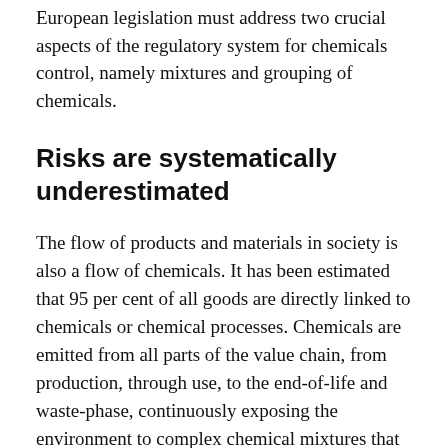European legislation must address two crucial aspects of the regulatory system for chemicals control, namely mixtures and grouping of chemicals.
Risks are systematically underestimated
The flow of products and materials in society is also a flow of chemicals. It has been estimated that 95 per cent of all goods are directly linked to chemicals or chemical processes. Chemicals are emitted from all parts of the value chain, from production, through use, to the end-of-life and waste-phase, continuously exposing the environment to complex chemical mixtures that can be toxic and cause adverse effects to environmental species, humans, and ecosystems.